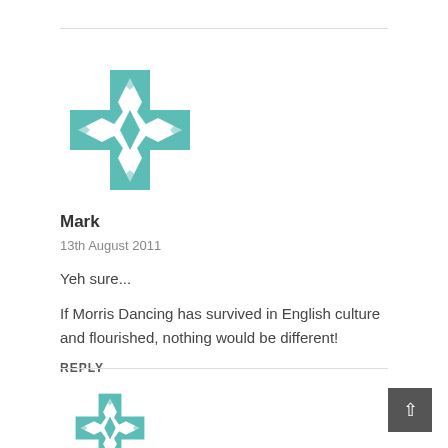[Figure (logo): Teal geometric cross-shaped avatar with star pattern for user Mark]
Mark
13th August 2011
Yeh sure...
If Morris Dancing has survived in English culture and flourished, nothing would be different!
REPLY
[Figure (logo): Teal geometric cross-shaped avatar (partial, bottom of page)]